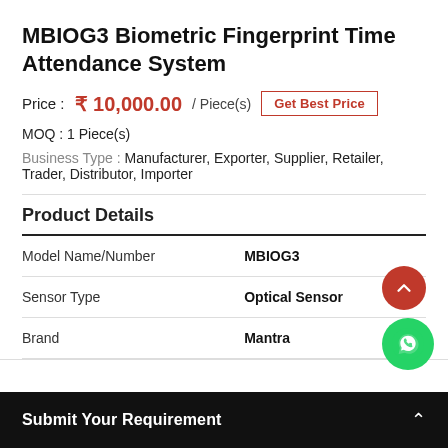MBIOG3 Biometric Fingerprint Time Attendance System
Price : ₹ 10,000.00 / Piece(s) Get Best Price
MOQ : 1 Piece(s)
Business Type : Manufacturer, Exporter, Supplier, Retailer, Trader, Distributor, Importer
Product Details
|  |  |
| --- | --- |
| Model Name/Number | MBIOG3 |
| Sensor Type | Optical Sensor |
| Brand | Mantra |
Submit Your Requirement